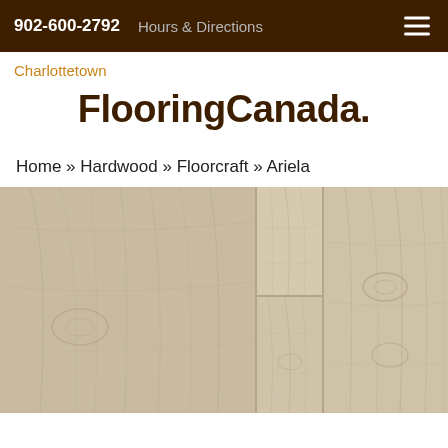902-600-2792   Hours & Directions
Charlottetown
FlooringCanada.
Home » Hardwood » Floorcraft » Ariela
[Figure (photo): Close-up photo of hardwood flooring planks in a light beige/natural oak finish showing wood grain texture, arranged in multiple widths]